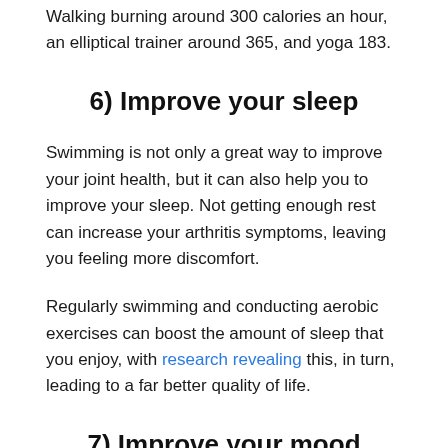Walking burning around 300 calories an hour, an elliptical trainer around 365, and yoga 183.
6) Improve your sleep
Swimming is not only a great way to improve your joint health, but it can also help you to improve your sleep. Not getting enough rest can increase your arthritis symptoms, leaving you feeling more discomfort.
Regularly swimming and conducting aerobic exercises can boost the amount of sleep that you enjoy, with research revealing this, in turn, leading to a far better quality of life.
7) Improve your mood
Swimming can also support you to improve your mood and reduce stress. Regularly getting in the pool and being active has been shown to ease depression and anxiety, which is an